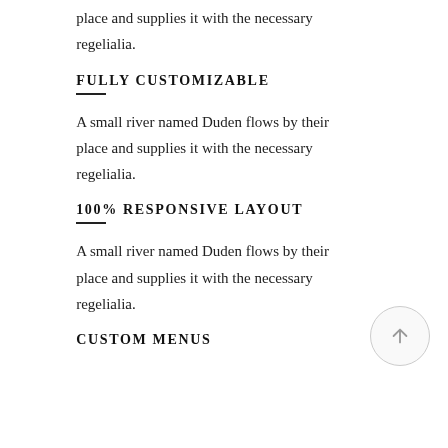place and supplies it with the necessary regelialia.
FULLY CUSTOMIZABLE
A small river named Duden flows by their place and supplies it with the necessary regelialia.
100% RESPONSIVE LAYOUT
A small river named Duden flows by their place and supplies it with the necessary regelialia.
CUSTOM MENUS